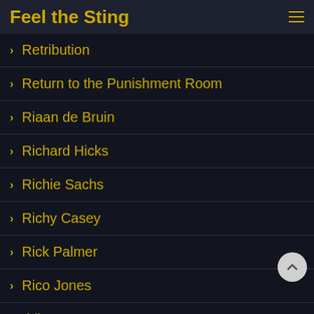Feel the Sting
Retribution
Return to the Punishment Room
Riaan de Bruin
Richard Hicks
Richie Sachs
Richy Casey
Rick Palmer
Rico Jones
riding crop
Riding whip
Riley Smith
Robbie